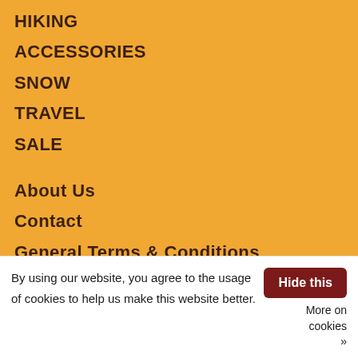HIKING
ACCESSORIES
SNOW
TRAVEL
SALE
About Us
Contact
General Terms & Conditions
Disclaimer
By using our website, you agree to the usage of cookies to help us make this website better.
Hide this
More on cookies »